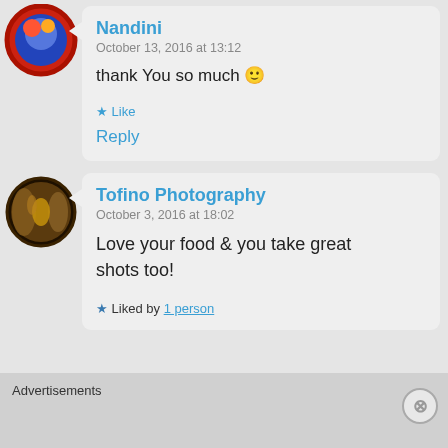[Figure (photo): Avatar of Nandini - small circular profile picture with colorful design]
Nandini
October 13, 2016 at 13:12
thank You so much 🙂
Like
Reply
[Figure (photo): Avatar of Tofino Photography - circular profile picture with golden/amber bokeh light]
Tofino Photography
October 3, 2016 at 18:02
Love your food & you take great shots too!
Liked by 1 person
Advertisements